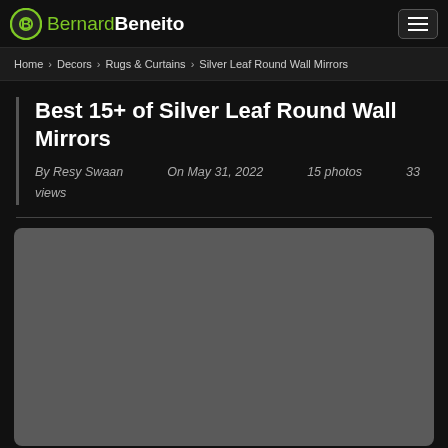BernardBeneito
Home › Decors › Rugs & Curtains › Silver Leaf Round Wall Mirrors
Best 15+ of Silver Leaf Round Wall Mirrors
By Resy Swaan   On May 31, 2022   15 photos   33 views
[Figure (photo): Gray placeholder image area for Silver Leaf Round Wall Mirrors photo]